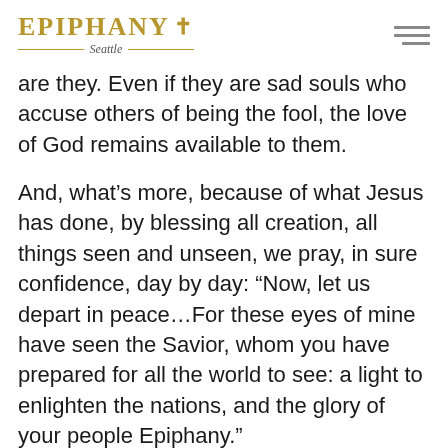Epiphany Seattle
are they. Even if they are sad souls who accuse others of being the fool, the love of God remains available to them.
And, what's more, because of what Jesus has done, by blessing all creation, all things seen and unseen, we pray, in sure confidence, day by day: “Now, let us depart in peace…For these eyes of mine have seen the Savior, whom you have prepared for all the world to see: a light to enlighten the nations, and the glory of your people Epiphany.”
I say Epiphany because we are seen, we are